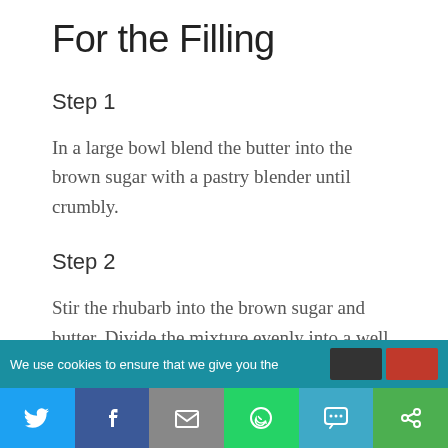For the Filling
Step 1
In a large bowl blend the butter into the brown sugar with a pastry blender until crumbly.
Step 2
Stir the rhubarb into the brown sugar and butter. Divide the mixture evenly into a well
We use cookies to ensure that we give you the
[Figure (infographic): Social share bar with Twitter, Facebook, Email, WhatsApp, SMS, and other sharing icons]